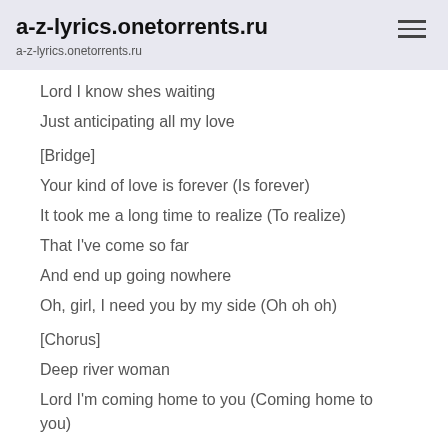a-z-lyrics.onetorrents.ru
a-z-lyrics.onetorrents.ru
Lord I know shes waiting
Just anticipating all my love
[Bridge]
Your kind of love is forever (Is forever)
It took me a long time to realize (To realize)
That I've come so far
And end up going nowhere
Oh, girl, I need you by my side (Oh oh oh)
[Chorus]
Deep river woman
Lord I'm coming home to you (Coming home to you)